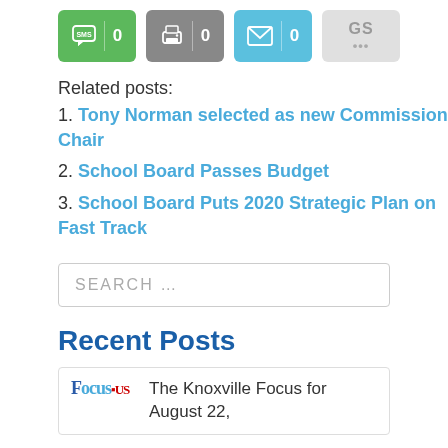[Figure (screenshot): Row of four social sharing buttons: SMS (green, count 0), Print (gray, count 0), Email (blue, count 0), GS (light gray, dots)]
Related posts:
1. Tony Norman selected as new Commission Chair
2. School Board Passes Budget
3. School Board Puts 2020 Strategic Plan on Fast Track
SEARCH ...
Recent Posts
The Knoxville Focus for August 22,